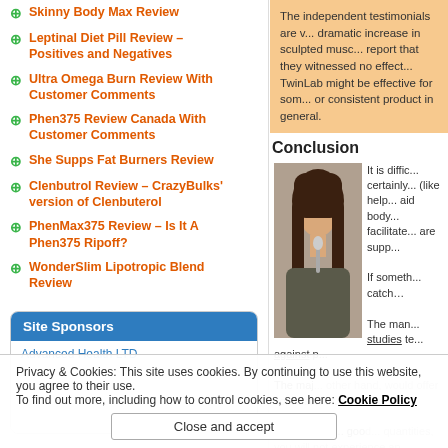Skinny Body Max Review
Leptinal Diet Pill Review – Positives and Negatives
Ultra Omega Burn Review With Customer Comments
Phen375 Review Canada With Customer Comments
She Supps Fat Burners Review
Clenbutrol Review – CrazyBulks' version of Clenbuterol
PhenMax375 Review – Is It A Phen375 Ripoff?
WonderSlim Lipotropic Blend Review
Site Sponsors
Advanced Health LTD
The independent testimonials are v... dramatic increase in sculpted musc... report that they witnessed no effect... TwinLab might be effective for som... or consistent product in general.
Conclusion
[Figure (photo): Woman in grey top biting a spoon, thinking pose]
It is diffic... certainly... (like help... aid body... facilitate... are supp...

If someth... catch…

The man... studies te... against p...

The maj... other hand, would offer some sort of...

This product... good... quantities, you will not experience an... appears a bit over-the-top and sensa...
Privacy & Cookies: This site uses cookies. By continuing to use this website, you agree to their use. To find out more, including how to control cookies, see here: Cookie Policy
Close and accept